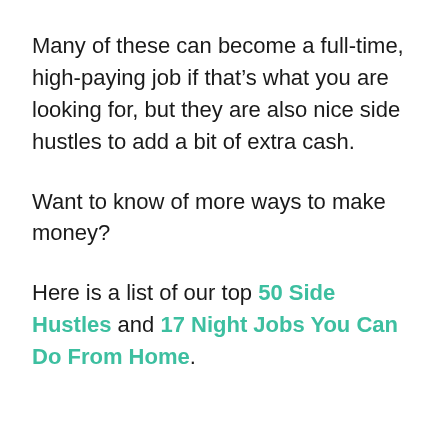Many of these can become a full-time, high-paying job if that’s what you are looking for, but they are also nice side hustles to add a bit of extra cash.
Want to know of more ways to make money?
Here is a list of our top 50 Side Hustles and 17 Night Jobs You Can Do From Home.